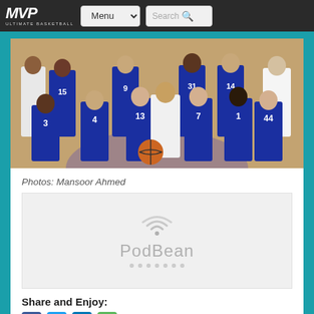MVP Ultimate Basketball — Menu | Search
[Figure (photo): Group team photo of Great Britain women's basketball team in dark blue uniforms with numbers including 3, 4, 7, 9, 13, 14, 15, 31, 44, 1, posed on a basketball court with purple circle logo on floor]
Photos: Mansoor Ahmed
[Figure (logo): PodBean podcast player logo in gray — wifi-style arc icon above 'PodBean' text, with dots below]
Share and Enjoy:
[Figure (screenshot): Social media share icons: Facebook, Twitter, LinkedIn, and one more icon]